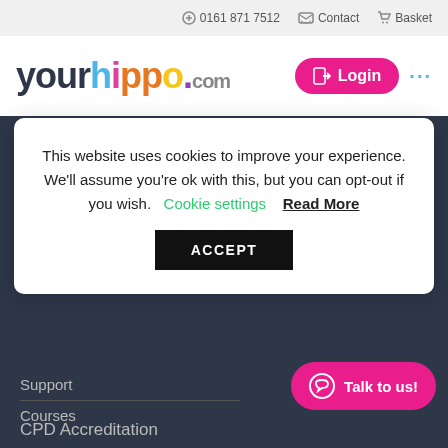0161 871 7512   Contact   Basket
[Figure (logo): yourhippo.com logo with colorful letters and a pink Login button]
E-Learning
This website uses cookies to improve your experience. We'll assume you're ok with this, but you can opt-out if you wish.  Cookie settings  Read More  ACCEPT
Support
Courses
CPD Accreditation
Talk to us!